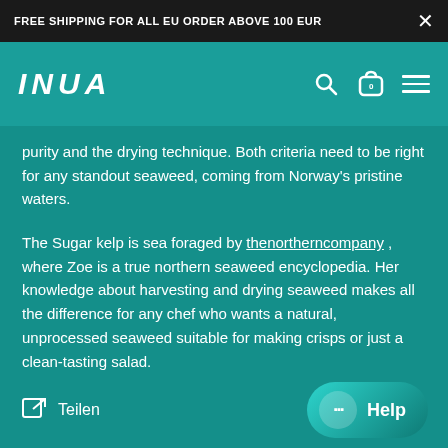FREE SHIPPING FOR ALL EU ORDER ABOVE 100 EUR
[Figure (logo): INUA logo in white italic text on teal background with search, cart, and hamburger menu icons]
purity and the drying technique. Both criteria need to be right for any standout seaweed, coming from Norway's pristine waters.
The Sugar kelp is sea foraged by thenortherncompany , where Zoe is a true northern seaweed encyclopedia. Her knowledge about harvesting and drying seaweed makes all the difference for any chef who wants a natural, unprocessed seaweed suitable for making crisps or just a clean-tasting salad.
Teilen